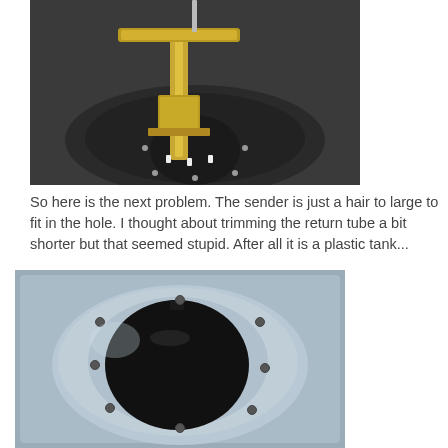[Figure (photo): Close-up photo of a gold/brass colored fuel sender unit with a cross-bar handle and cylindrical body being inserted into a dark metal fuel tank opening with multiple small bolt holes around the perimeter.]
So here is the next problem.  The sender is just a hair to large to fit in the hole.  I thought about trimming the return tube a bit shorter but that seemed stupid. After all it is a plastic tank...
[Figure (photo): Close-up photo of a light-colored plastic fuel tank top surface showing a large circular opening/hole in the center with several small bolt holes arranged around the perimeter of the circular recess.]